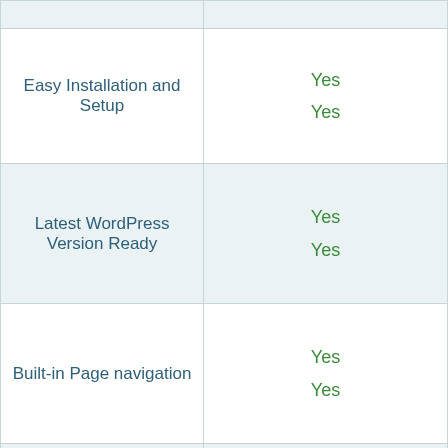| Feature | Value |
| --- | --- |
|  |  |
| Easy Installation and Setup | Yes
Yes |
| Latest WordPress Version Ready | Yes
Yes |
| Built-in Page navigation | Yes
Yes |
|  | Yes (only base functionality) |